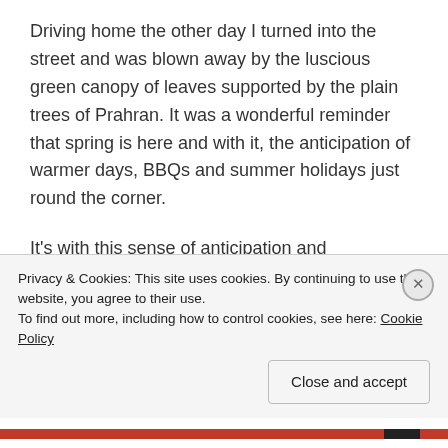Driving home the other day I turned into the street and was blown away by the luscious green canopy of leaves supported by the plain trees of Prahran. It was a wonderful reminder that spring is here and with it, the anticipation of warmer days, BBQs and summer holidays just round the corner.
It's with this sense of anticipation and excitement that Rob and I are starting anew. It seems like ages since Rob and I started MARC Up and planning for Kiss Me Like You Mean It. Since then, Rob and I have been together, apart
Privacy & Cookies: This site uses cookies. By continuing to use this website, you agree to their use.
To find out more, including how to control cookies, see here: Cookie Policy
Close and accept